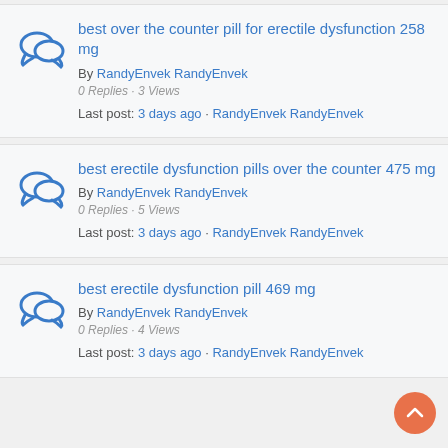best over the counter pill for erectile dysfunction 258 mg
By RandyEnvek RandyEnvek
0 Replies · 3 Views
Last post: 3 days ago · RandyEnvek RandyEnvek
best erectile dysfunction pills over the counter 475 mg
By RandyEnvek RandyEnvek
0 Replies · 5 Views
Last post: 3 days ago · RandyEnvek RandyEnvek
best erectile dysfunction pill 469 mg
By RandyEnvek RandyEnvek
0 Replies · 4 Views
Last post: 3 days ago · RandyEnvek RandyEnvek